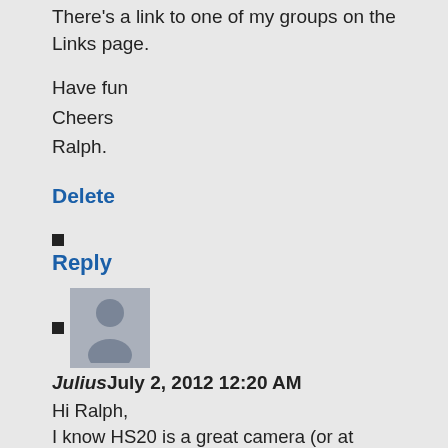There's a link to one of my groups on the Links page.
Have fun
Cheers
Ralph.
Delete
Reply
Julius July 2, 2012 12:20 AM
Hi Ralph,
I know HS20 is a great camera (or at least i really hope so :) )), but i only have a few keepers for now and it seems that HS20 respons is totally different than S5700. I was using S5700 for about 4-5 years now, exclusively in manual mode, with excelent